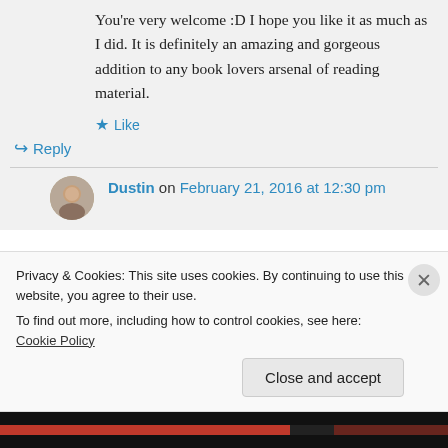You're very welcome :D I hope you like it as much as I did. It is definitely an amazing and gorgeous addition to any book lovers arsenal of reading material.
★ Like
↪ Reply
Dustin on February 21, 2016 at 12:30 pm
Privacy & Cookies: This site uses cookies. By continuing to use this website, you agree to their use.
To find out more, including how to control cookies, see here: Cookie Policy
Close and accept